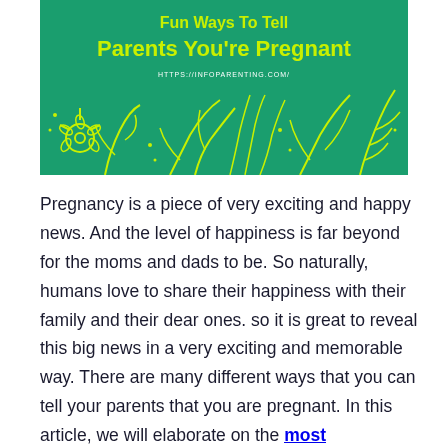[Figure (illustration): Green banner with yellow-green title text reading 'Fun Ways To Tell Parents You're Pregnant' and URL 'HTTPS://INFOPARENTING.COM/' with decorative floral line art in yellow-green on a teal/green background.]
Pregnancy is a piece of very exciting and happy news. And the level of happiness is far beyond for the moms and dads to be. So naturally, humans love to share their happiness with their family and their dear ones. so it is great to reveal this big news in a very exciting and memorable way. There are many different ways that you can tell your parents that you are pregnant. In this article, we will elaborate on the most remarkable ways to reveal your pregnancy.